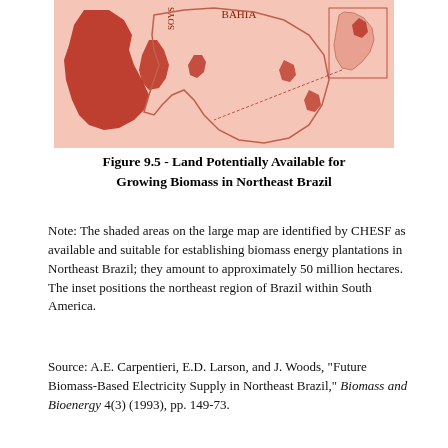[Figure (map): Map of Northeast Brazil showing land potentially available for biomass plantations. Shaded dark red/brown areas indicate regions identified by CHESF as available and suitable for establishing biomass energy plantations. The label 'BAHIA' is visible on the map. An inset positions the northeast region within South America.]
Figure 9.5 - Land Potentially Available for Growing Biomass in Northeast Brazil
Note: The shaded areas on the large map are identified by CHESF as available and suitable for establishing biomass energy plantations in Northeast Brazil; they amount to approximately 50 million hectares. The inset positions the northeast region of Brazil within South America.
Source: A.E. Carpentieri, E.D. Larson, and J. Woods, "Future Biomass-Based Electricity Supply in Northeast Brazil," Biomass and Bioenergy 4(3) (1993), pp. 149-73.